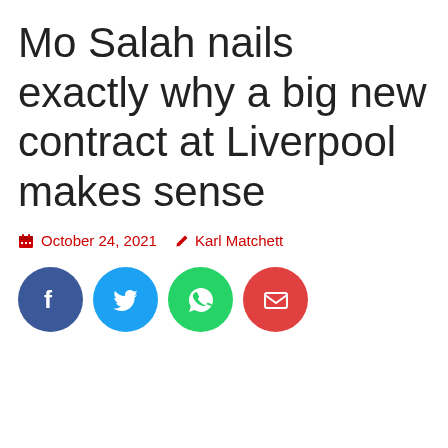Mo Salah nails exactly why a big new contract at Liverpool makes sense
October 24, 2021   Karl Matchett
[Figure (other): Four circular social share buttons: Facebook (dark blue), Twitter (light blue), WhatsApp (green), Email (red)]